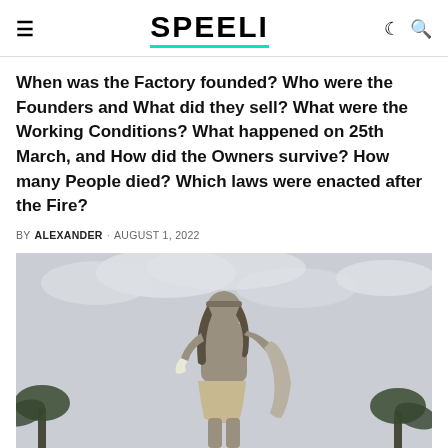SPEELI
When was the Factory founded? Who were the Founders and What did they sell? What were the Working Conditions? What happened on 25th March, and How did the Owners survive? How many People died? Which laws were enacted after the Fire?
BY ALEXANDER · AUGUST 1, 2022
[Figure (photo): Black and white photo of a muscular male statue holding a surfboard, standing in front of palm trees against an overcast sky.]